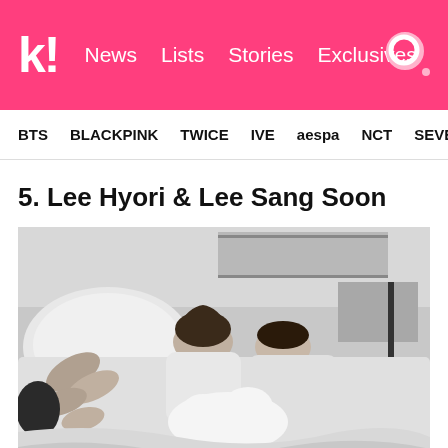k! News Lists Stories Exclusives
BTS BLACKPINK TWICE IVE aespa NCT SEVE
5. Lee Hyori & Lee Sang Soon
[Figure (photo): Black and white photo of Lee Hyori and Lee Sang Soon lying on a bed with a white dog, in an intimate candid moment]